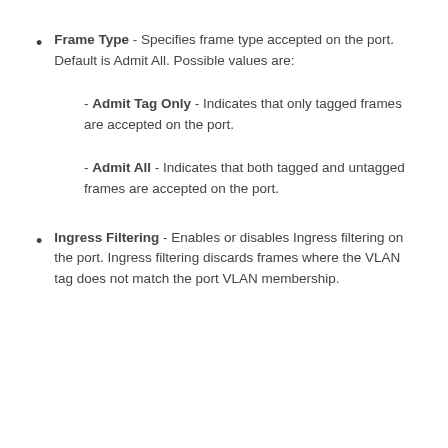Frame Type - Specifies frame type accepted on the port. Default is Admit All. Possible values are:
- Admit Tag Only - Indicates that only tagged frames are accepted on the port.
- Admit All - Indicates that both tagged and untagged frames are accepted on the port.
Ingress Filtering - Enables or disables Ingress filtering on the port. Ingress filtering discards frames where the VLAN tag does not match the port VLAN membership.